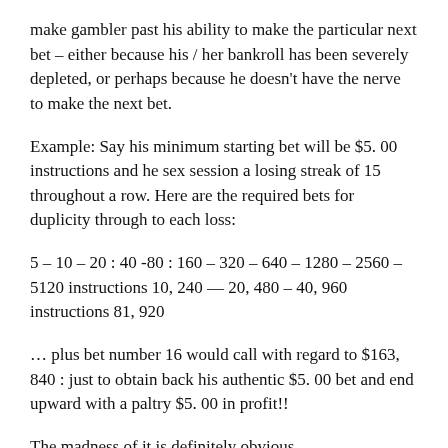make gambler past his ability to make the particular next bet – either because his / her bankroll has been severely depleted, or perhaps because he doesn't have the nerve to make the next bet.
Example: Say his minimum starting bet will be $5. 00 instructions and he sex session a losing streak of 15 throughout a row. Here are the required bets for duplicity through to each loss:
5 – 10 – 20 : 40 -80 : 160 – 320 – 640 – 1280 – 2560 – 5120 instructions 10, 240 — 20, 480 – 40, 960 instructions 81, 920
… plus bet number 16 would call with regard to $163, 840 : just to obtain back his authentic $5. 00 bet and end upward with a paltry $5. 00 in profit!!
The madness of it is definitely obvious.